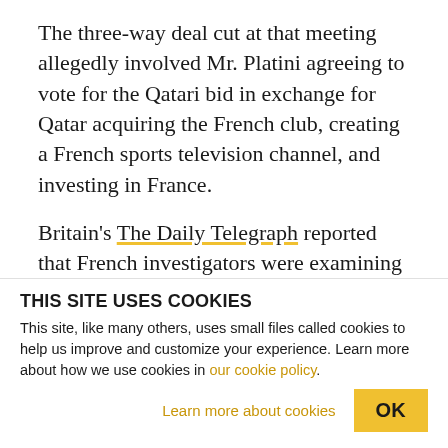The three-way deal cut at that meeting allegedly involved Mr. Platini agreeing to vote for the Qatari bid in exchange for Qatar acquiring the French club, creating a French sports television channel, and investing in France.
Britain's The Daily Telegraph reported that French investigators were examining whether Mr. Sarkozy may have received funds from deals linked to the 2010 meeting, including the sale to Qatar of a five percent stake in French water management company
THIS SITE USES COOKIES
This site, like many others, uses small files called cookies to help us improve and customize your experience. Learn more about how we use cookies in our cookie policy.
Learn more about cookies
OK